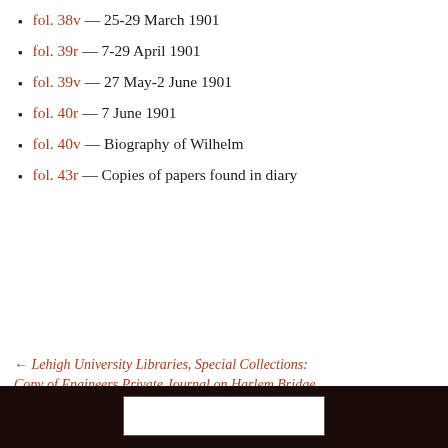fol. 38v — 25-29 March 1901
fol. 39r — 7-29 April 1901
fol. 39v — 27 May-2 June 1901
fol. 40r — 7 June 1901
fol. 40v — Biography of Wilhelm
fol. 43r — Copies of papers found in diary
← Lehigh University Libraries, Special Collections: Copy of Engineers Private Journal on Harlem Bridge, 1860-1861
Lehigh University Libraries, Special Collections: Estelle Johnston Diaries, Volume 1 →